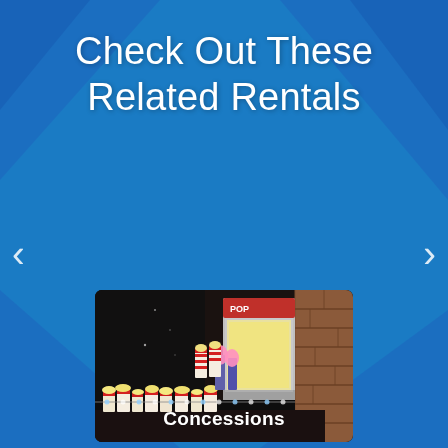Check Out These Related Rentals
[Figure (photo): A concession stand setup with a lit popcorn machine on the right, and a long table covered in popcorn boxes, cotton candy, and drinks on the left, in a dark venue setting with a brick wall visible]
Concessions